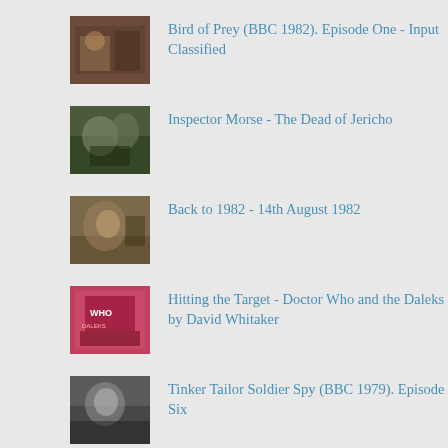Bird of Prey (BBC 1982). Episode One - Input Classified
Inspector Morse - The Dead of Jericho
Back to 1982 - 14th August 1982
Hitting the Target - Doctor Who and the Daleks by David Whitaker
Tinker Tailor Soldier Spy (BBC 1979). Episode Six
The Rivals of Sherlock Holmes - The Horse of the Invisible
CATEGORIES
Acorn Media